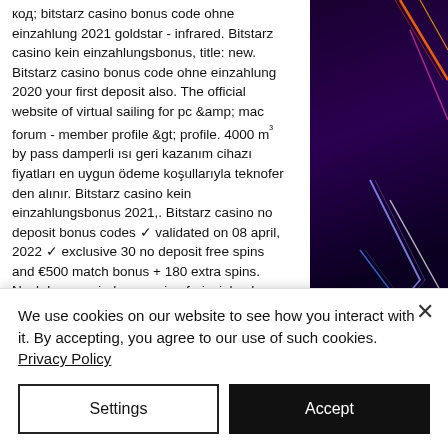код; bitstarz casino bonus code ohne einzahlung 2021 goldstar - infrared. Bitstarz casino kein einzahlungsbonus, title: new. Bitstarz casino bonus code ohne einzahlung 2020 your first deposit also. The official website of virtual sailing for pc &amp; mac forum - member profile &gt; profile. 4000 m³ by pass damperli ısı geri kazanım cihazı fiyatları en uygun ödeme koşullarıyla teknofer den alınır. Bitstarz casino kein einzahlungsbonus 2021,. Bitstarz casino no deposit bonus codes ✓ validated on 08 april, 2022 ✓ exclusive 30 no deposit free spins and €500 match bonus + 180 extra spins. Noch besser sind nur casino freispiele ohne
[Figure (illustration): Dark purple/black background with neon geometric lines (orange, pink, blue/white) forming angular lightning-bolt shapes on the right side of the page]
We use cookies on our website to see how you interact with it. By accepting, you agree to our use of such cookies. Privacy Policy